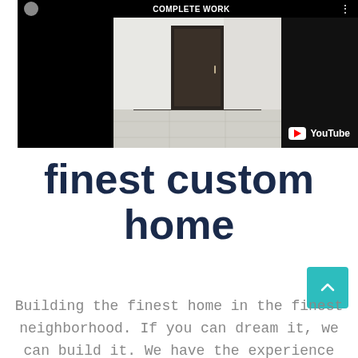[Figure (screenshot): YouTube video thumbnail showing an interior room with a dark door, white walls, and tiled floor. Top bar shows 'COMPLETE WORK' text with a circular avatar icon and three-dot menu. YouTube logo appears in bottom right corner of video player.]
finest custom home
Building the finest home in the finest neighborhood. If you can dream it, we can build it. We have the experience